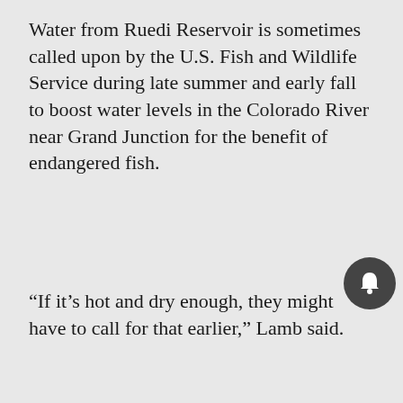Water from Ruedi Reservoir is sometimes called upon by the U.S. Fish and Wildlife Service during late summer and early fall to boost water levels in the Colorado River near Grand Junction for the benefit of endangered fish.
“If it’s hot and dry enough, they might have to call for that earlier,” Lamb said.
scondon@aspentimes.com
News
[Figure (photo): Partial dark photo visible beneath News section header]
[Figure (photo): MAC cosmetics advertisement banner showing lipsticks in purple, pink, fuchsia and red colors with MAC logo and SHOP NOW button]
Home   Trending   Sections